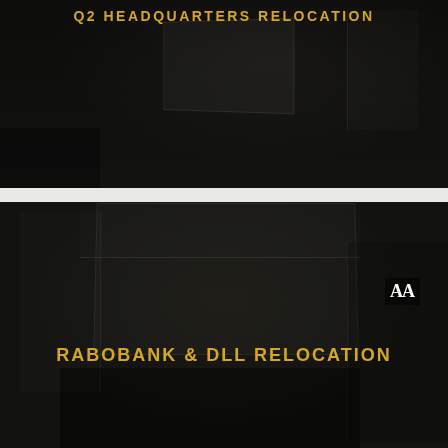[Figure (photo): Dark interior architectural rendering of an office space, top panel showing a dimly lit room]
Q2 HEADQUARTERS RELOCATION
[Figure (photo): Dark interior architectural rendering of a modern office/lobby space with exposed ceiling, bottom panel]
RABOBANK & DLL RELOCATION